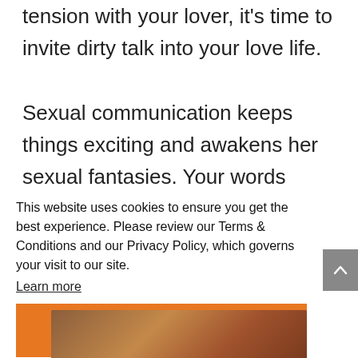tension with your lover, it's time to invite dirty talk into your love life.
Sexual communication keeps things exciting and awakens her sexual fantasies. Your words have the
This website uses cookies to ensure you get the best experience. Please review our Terms & Conditions and our Privacy Policy, which governs your visit to our site.
Learn more
I understand :)
[Figure (photo): Bottom strip showing a partial photo, likely a person, with warm brown tones visible]